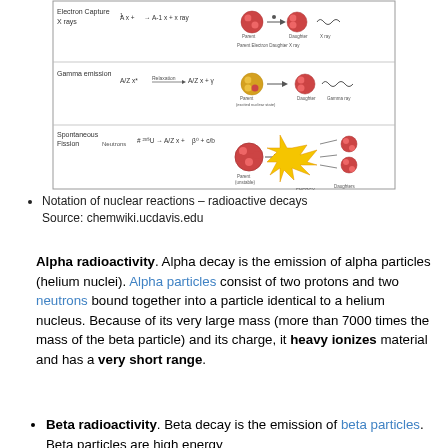[Figure (table-as-image): Table showing notation of nuclear reactions including electron capture, gamma emission, and spontaneous fission with diagrams of parent and daughter nuclei]
Notation of nuclear reactions – radioactive decays
Source: chemwiki.ucdavis.edu
Alpha radioactivity. Alpha decay is the emission of alpha particles (helium nuclei). Alpha particles consist of two protons and two neutrons bound together into a particle identical to a helium nucleus. Because of its very large mass (more than 7000 times the mass of the beta particle) and its charge, it heavy ionizes material and has a very short range.
Beta radioactivity. Beta decay is the emission of beta particles. Beta particles are high energy...